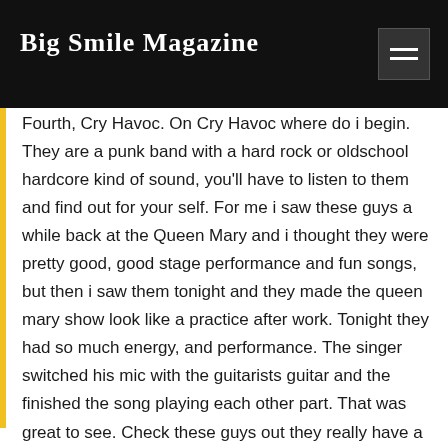Big Smile Magazine
Fourth, Cry Havoc. On Cry Havoc where do i begin. They are a punk band with a hard rock or oldschool hardcore kind of sound, you'll have to listen to them and find out for your self. For me i saw these guys a while back at the Queen Mary and i thought they were pretty good, good stage performance and fun songs, but then i saw them tonight and they made the queen mary show look like a practice after work. Tonight they had so much energy, and performance. The singer switched his mic with the guitarists guitar and the finished the song playing each other part. That was great to see. Check these guys out they really have a lot of passion for their music.
www.myspace.com/cryhavoc